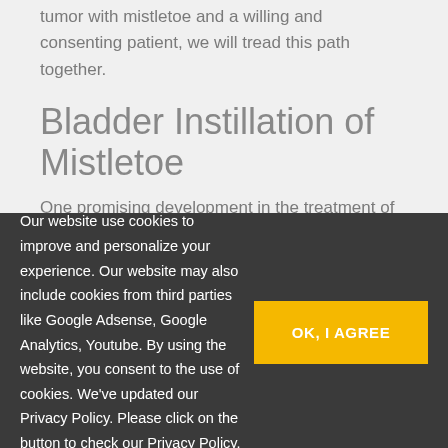tumor with mistletoe and a willing and consenting patient, we will tread this path together.
Bladder Instillation of Mistletoe
One promising development in the treatment of bladder cancer is the instillation through a catheter of a mistletoe solution into the bladder. This trial showed that mistletoe for bladder cancer was at least equivalent to the use of BCG, without the side effects
Our website use cookies to improve and personalize your experience. Our website may also include cookies from third parties like Google Adsense, Google Analytics, Youtube. By using the website, you consent to the use of cookies. We've updated our Privacy Policy. Please click on the button to check our Privacy Policy.
OK, I AGREE